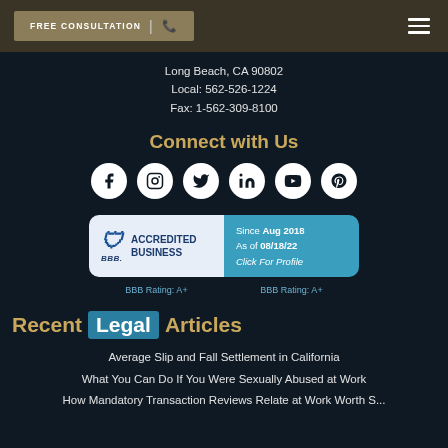FREE CONSULTATION | ☎
Long Beach, CA 90802
Local: 562-526-1224
Fax: 1-562-309-8100
Connect with Us
[Figure (infographic): Social media icons row: Facebook, Instagram, Twitter, LinkedIn, YouTube, Pinterest — white circular icons on dark background]
[Figure (logo): BBB Accredited Business badge. Left panel: white/light background with BBB logo and 'ACCREDITED BUSINESS' text. Right panel: teal background with 'Since Aug 2018 As of 08/18/22 Click For Profile'. BBB Rating: A+ shown under each panel.]
Recent Legal Articles
Average Slip and Fall Settlement in California
What You Can Do If You Were Sexually Abused at Work
How Mandatory Transaction Reviews Relate at Work Worth S...